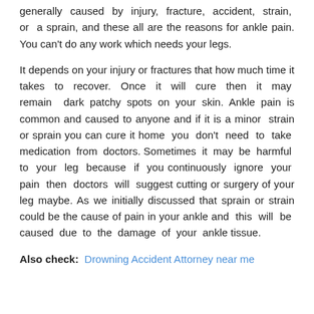generally caused by injury, fracture, accident, strain, or a sprain, and these all are the reasons for ankle pain. You can't do any work which needs your legs.
It depends on your injury or fractures that how much time it takes to recover. Once it will cure then it may remain dark patchy spots on your skin. Ankle pain is common and caused to anyone and if it is a minor strain or sprain you can cure it home you don't need to take medication from doctors. Sometimes it may be harmful to your leg because if you continuously ignore your pain then doctors will suggest cutting or surgery of your leg maybe. As we initially discussed that sprain or strain could be the cause of pain in your ankle and this will be caused due to the damage of your ankle tissue.
Also check: Drowning Accident Attorney near me